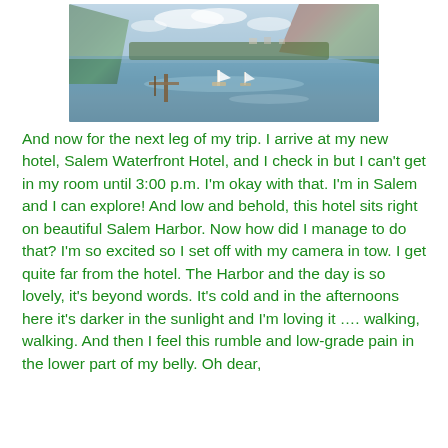[Figure (photo): A scenic waterfront harbor photo showing calm water with sailboats, a dock on the left, trees framing both sides, and a treeline with autumn foliage visible across the water under a partly cloudy sky.]
And now for the next leg of my trip. I arrive at my new hotel, Salem Waterfront Hotel, and I check in but I can't get in my room until 3:00 p.m. I'm okay with that. I'm in Salem and I can explore! And low and behold, this hotel sits right on beautiful Salem Harbor. Now how did I manage to do that? I'm so excited so I set off with my camera in tow. I get quite far from the hotel. The Harbor and the day is so lovely, it's beyond words. It's cold and in the afternoons here it's darker in the sunlight and I'm loving it …. walking, walking. And then I feel this rumble and low-grade pain in the lower part of my belly. Oh dear, ...